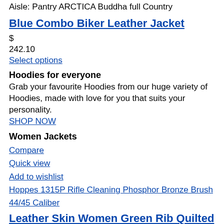Aisle: Pantry ARCTICA Buddha full Country
Blue Combo Biker Leather Jacket
$
242.10
Select options
Hoodies for everyone
Grab your favourite Hoodies from our huge variety of Hoodies, made with love for you that suits your personality.
SHOP NOW
Women Jackets
Compare
Quick view
Add to wishlist
Hoppes 1315P Rifle Cleaning Phosphor Bronze Brush 44/45 Caliber
Leather Skin Women Green Rib Quilted Genuine Leather Jacket